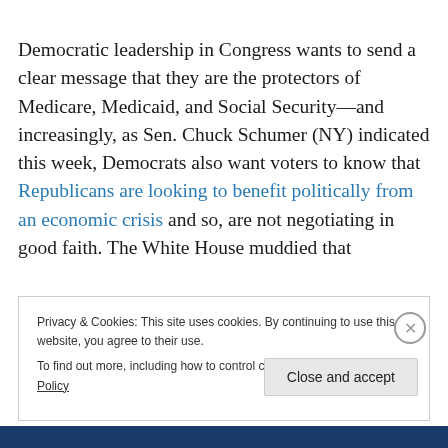Democratic leadership in Congress wants to send a clear message that they are the protectors of Medicare, Medicaid, and Social Security—and increasingly, as Sen. Chuck Schumer (NY) indicated this week, Democrats also want voters to know that Republicans are looking to benefit politically from an economic crisis and so, are not negotiating in good faith. The White House muddied that
Privacy & Cookies: This site uses cookies. By continuing to use this website, you agree to their use. To find out more, including how to control cookies, see here: Cookie Policy
Close and accept